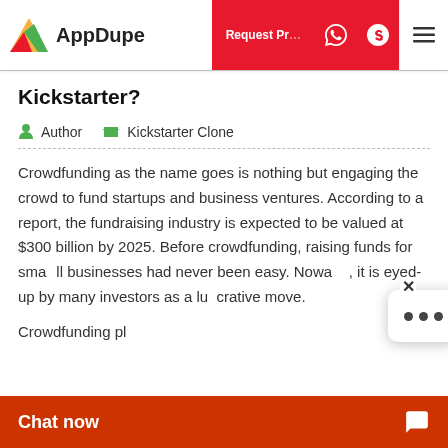AppDupe | Request Proposal | Cost Calculator
Kickstarter?
Author   Kickstarter Clone
Crowdfunding as the name goes is nothing but engaging the crowd to fund startups and business ventures. According to a report, the fundraising industry is expected to be valued at $300 billion by 2025. Before crowdfunding, raising funds for small businesses had never been easy. Nowadays, it is eyed-up by many investors as a lucrative move.
Crowdfunding pl...
Chat now